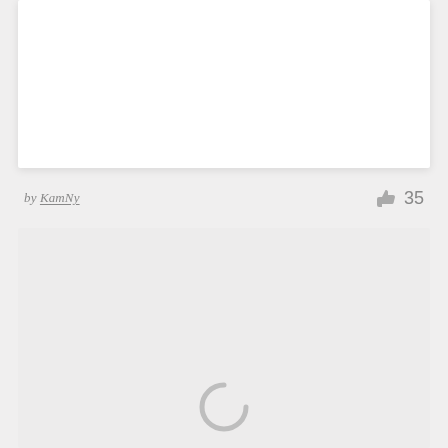[Figure (other): White content card area at the top of the page]
by KamNy  35
[Figure (other): Light gray card with loading spinner (arc/circle indicator) in the lower center]